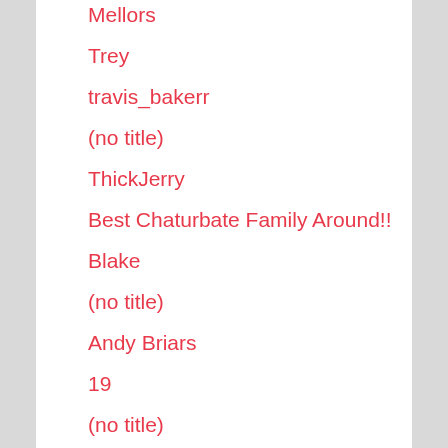Mellors
Trey
travis_bakerr
(no title)
ThickJerry
Best Chaturbate Family Around!!
Blake
(no title)
Andy Briars
19
(no title)
(no title)
WilsonJules
FOLLOW ME IN INSTAGRAM @matteosantinea1